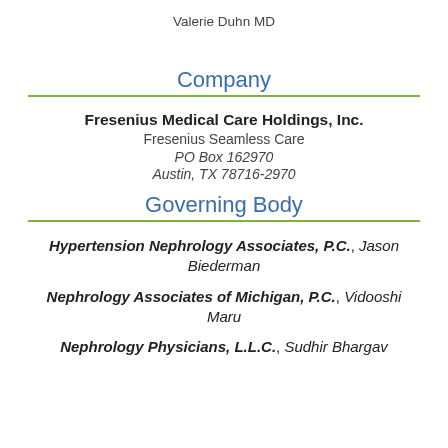Valerie Duhn MD
Company
Fresenius Medical Care Holdings, Inc.
Fresenius Seamless Care
PO Box 162970
Austin, TX 78716-2970
Governing Body
Hypertension Nephrology Associates, P.C., Jason Biederman
Nephrology Associates of Michigan, P.C., Vidooshi Maru
Nephrology Physicians, L.L.C., Sudhir Bhargav